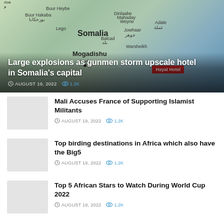[Figure (map): Google Maps view of Somalia showing Mogadishu, Hayat Hotel marker, and surrounding region labels. Hero image with dark gradient overlay at bottom.]
Large explosions as gunmen storm upscale hotel in Somalia's capital
AUGUST 19, 2022   1.2K
Mali Accuses France of Supporting Islamist Militants
AUGUST 19, 2022   1.2K
Top birding destinations in Africa which also have the Big5
AUGUST 19, 2022   1.2K
Top 5 African Stars to Watch During World Cup 2022
AUGUST 19, 2022   1.2K